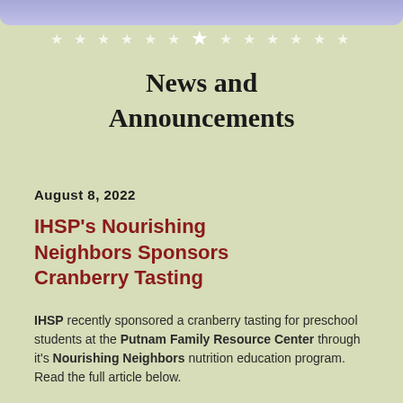News and Announcements
August 8, 2022
IHSP's Nourishing Neighbors Sponsors Cranberry Tasting
IHSP recently sponsored a cranberry tasting for preschool students at the Putnam Family Resource Center through it's Nourishing Neighbors nutrition education program. Read the full article below.